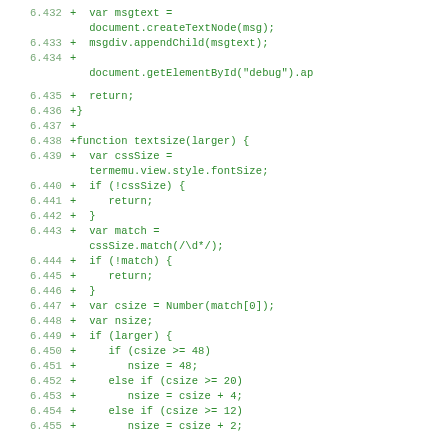6.432  +  var msgtext =
         document.createTextNode(msg);
6.433  +  msgdiv.appendChild(msgtext);
6.434  +
         document.getElementById("debug").ap
6.435  +  return;
6.436  +}
6.437  +
6.438  +function textsize(larger) {
6.439  +  var cssSize =
         termemu.view.style.fontSize;
6.440  +  if (!cssSize) {
6.441  +     return;
6.442  +  }
6.443  +  var match =
         cssSize.match(/\d*/);
6.444  +  if (!match) {
6.445  +     return;
6.446  +  }
6.447  +  var csize = Number(match[0]);
6.448  +  var nsize;
6.449  +  if (larger) {
6.450  +     if (csize >= 48)
6.451  +        nsize = 48;
6.452  +     else if (csize >= 20)
6.453  +        nsize = csize + 4;
6.454  +     else if (csize >= 12)
6.455  +        nsize = csize + 2;